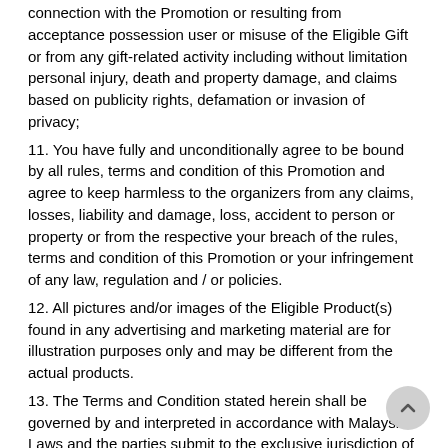connection with the Promotion or resulting from acceptance possession user or misuse of the Eligible Gift or from any gift-related activity including without limitation personal injury, death and property damage, and claims based on publicity rights, defamation or invasion of privacy;
11. You have fully and unconditionally agree to be bound by all rules, terms and condition of this Promotion and agree to keep harmless to the organizers from any claims, losses, liability and damage, loss, accident to person or property or from the respective your breach of the rules, terms and condition of this Promotion or your infringement of any law, regulation and / or policies.
12. All pictures and/or images of the Eligible Product(s) found in any advertising and marketing material are for illustration purposes only and may be different from the actual products.
13. The Terms and Condition stated herein shall be governed by and interpreted in accordance with Malaysian Laws and the parties submit to the exclusive jurisdiction of the Malaysian Courts.